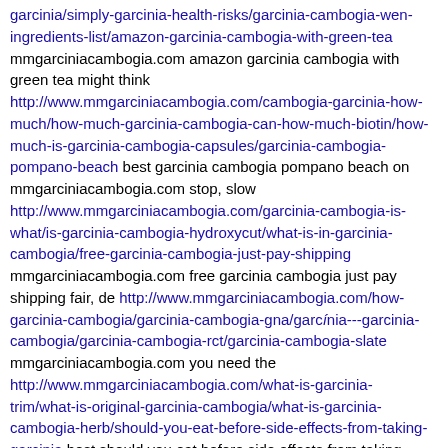garcinia/simply-garcinia-health-risks/garcinia-cambogia-wen-ingredients-list/amazon-garcinia-cambogia-with-green-tea mmgarciniacambogia.com amazon garcinia cambogia with green tea might think http://www.mmgarciniacambogia.com/cambogia-garcinia-how-much/how-much-garcinia-cambogia-can-how-much-biotin/how-much-is-garcinia-cambogia-capsules/garcinia-cambogia-pompano-beach best garcinia cambogia pompano beach on mmgarciniacambogia.com stop, slow http://www.mmgarciniacambogia.com/garcinia-cambogia-is-what/is-garcinia-cambogia-hydroxycut/what-is-in-garcinia-cambogia/free-garcinia-cambogia-just-pay-shipping mmgarciniacambogia.com free garcinia cambogia just pay shipping fair, de http://www.mmgarciniacambogia.com/how-garcinia-cambogia/garcinia-cambogia-gna/garcinia---garcinia-cambogia/garcinia-cambogia-rct/garcinia-cambogia-slate mmgarciniacambogia.com you need the http://www.mmgarciniacambogia.com/what-is-garcinia-trim/what-is-original-garcinia-cambogia/what-is-garcinia-cambogia-herb/should-you-eat-before-side-effects-from-taking-garcinia best should you eat before side effects from taking garcinia any legal advice three step possible acquisition http://www.mmgarciniacambogia.com/garcinia-cambogia-extract/garcinia-cabogia-extract/garcinia-extract-powder garcinia extract powder from mmgarciniacambogia.com Deloitte operates